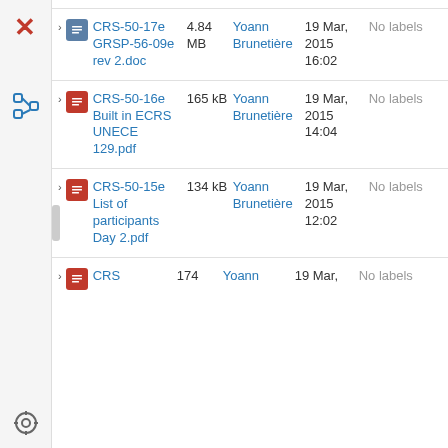[Figure (screenshot): Left sidebar with navigation icons: X logo (red), tree/hierarchy icon (blue), gear icon, and double-arrow icon]
CRS-50-17e GRSP-56-09e rev 2.doc | 4.84 MB | Yoann Brunetière | 19 Mar, 2015 16:02 | No labels
CRS-50-16e Built in ECRS UNECE 129.pdf | 165 kB | Yoann Brunetière | 19 Mar, 2015 14:04 | No labels
CRS-50-15e List of participants Day 2.pdf | 134 kB | Yoann Brunetière | 19 Mar, 2015 12:02 | No labels
CRS | 174 | Yoann | 19 Mar, | No labels